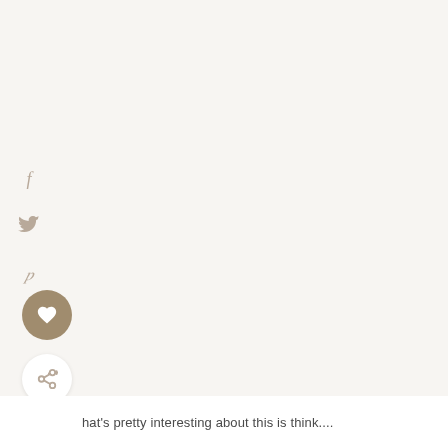[Figure (other): Social media sidebar icons: Facebook (f), Twitter (bird), Pinterest (p), a circular tan/brown heart button, and a circular white share/network button]
hat's pretty interesting about this is think....